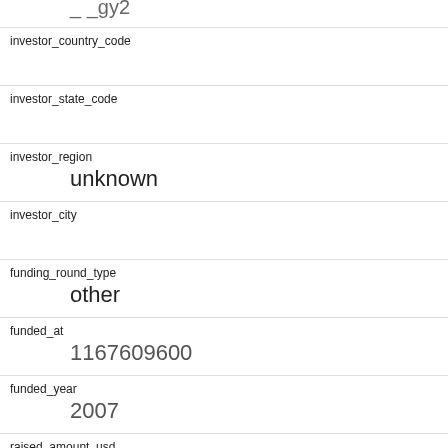investor_country_code
investor_state_code
investor_region
unknown
investor_city
funding_round_type
other
funded_at
1167609600
funded_year
2007
raised_amount_usd
34000000
gristHelper_Display2
/company/spiralfrog
Company_category_code